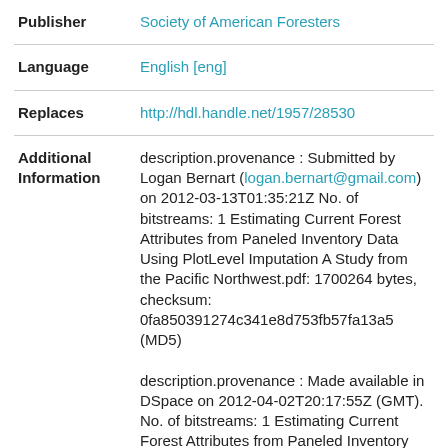| Field | Value |
| --- | --- |
| Publisher | Society of American Foresters |
| Language | English [eng] |
| Replaces | http://hdl.handle.net/1957/28530 |
| Additional Information | description.provenance : Submitted by Logan Bernart (logan.bernart@gmail.com) on 2012-03-13T01:35:21Z No. of bitstreams: 1 Estimating Current Forest Attributes from Paneled Inventory Data Using PlotLevel Imputation A Study from the Pacific Northwest.pdf: 1700264 bytes, checksum: 0fa850391274c341e8d753fb57fa13a5 (MD5) description.provenance : Made available in DSpace on 2012-04-02T20:17:55Z (GMT). No. of bitstreams: 1 Estimating Current Forest Attributes from Paneled Inventory Data Using |